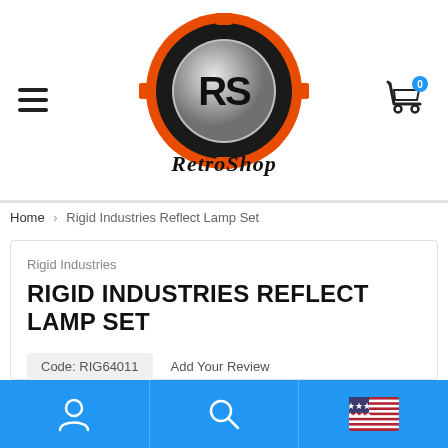[Figure (logo): RetroShop logo — circular emblem with orange and black design featuring stylized 'RS' letters, with 'RetroShop' script text below]
Home > Rigid Industries Reflect Lamp Set
Rigid Industries
RIGID INDUSTRIES REFLECT LAMP SET
Code: RIG64011    Add Your Review
[Figure (illustration): Bottom navigation bar with user icon, search icon, and US flag icon on blue background]